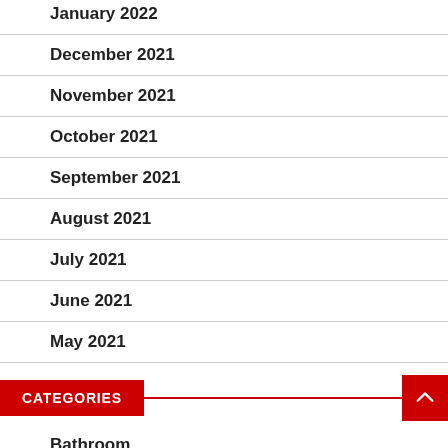January 2022
December 2021
November 2021
October 2021
September 2021
August 2021
July 2021
June 2021
May 2021
CATEGORIES
Bathroom
Bedroom